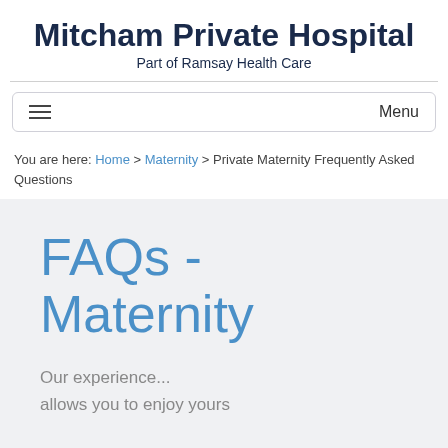Mitcham Private Hospital
Part of Ramsay Health Care
Menu
You are here: Home > Maternity > Private Maternity Frequently Asked Questions
FAQs - Maternity
Our experience... allows you to enjoy yours